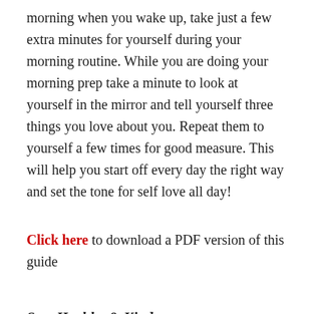morning when you wake up, take just a few extra minutes for yourself during your morning routine. While you are doing your morning prep take a minute to look at yourself in the mirror and tell yourself three things you love about you. Repeat them to yourself a few times for good measure. This will help you start off every day the right way and set the tone for self love all day!
Click here to download a PDF version of this guide
Stay Healthy & Kind